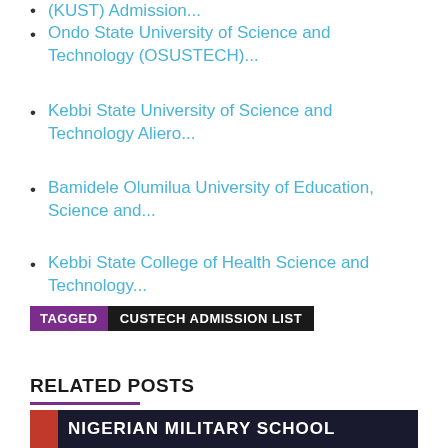(KUST) Admission...
Ondo State University of Science and Technology (OSUSTECH)...
Kebbi State University of Science and Technology Aliero...
Bamidele Olumilua University of Education, Science and...
Kebbi State College of Health Science and Technology...
TAGGED  CUSTECH ADMISSION LIST
RELATED POSTS
[Figure (photo): Banner image with text NIGERIAN MILITARY SCHOOL on dark background with red accent]